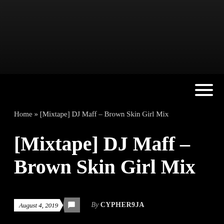[Figure (other): Dark gradient header banner area]
Home » [Mixtape] DJ Maff – Brown Skin Girl Mix
[Mixtape] DJ Maff – Brown Skin Girl Mix
August 4, 2019  By CYPHER9JA